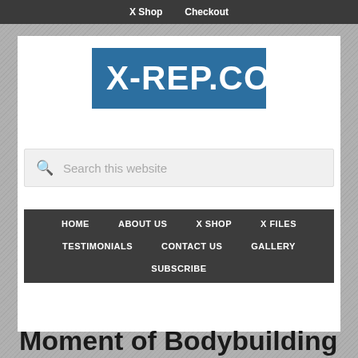X Shop   Checkout
[Figure (logo): X-REP.COM logo on blue background]
Search this website
HOME   ABOUT US   X SHOP   X FILES   TESTIMONIALS   CONTACT US   GALLERY   SUBSCRIBE
Moment of Bodybuilding